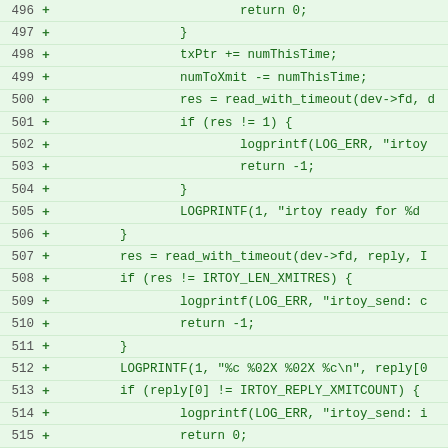[Figure (screenshot): Code diff screenshot showing lines 496-518 of a C source file, displaying added lines (marked with +) related to irtoy/IR toy transmission logic including read_with_timeout, logprintf, LOGPRINTF, and related control flow in green highlighted background.]